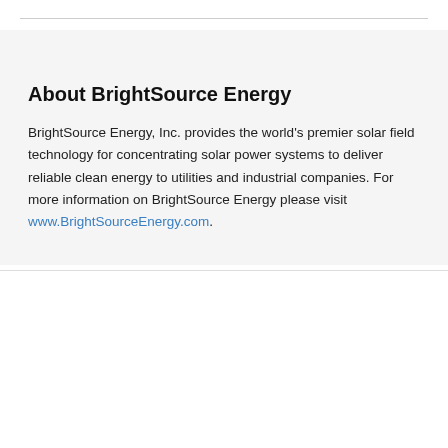About BrightSource Energy
BrightSource Energy, Inc. provides the world's premier solar field technology for concentrating solar power systems to deliver reliable clean energy to utilities and industrial companies. For more information on BrightSource Energy please visit www.BrightSourceEnergy.com.
Ao clicar em “Aceitar todos os cookies”, você concorda com o armazenamento de cookies no seu dispositivo para melhorar a navegação no site, analisar o uso do site e ajudar em nossos esforços de marketing. Aviso de privacidade
Definições de cookies
Aceitar todos os cookies